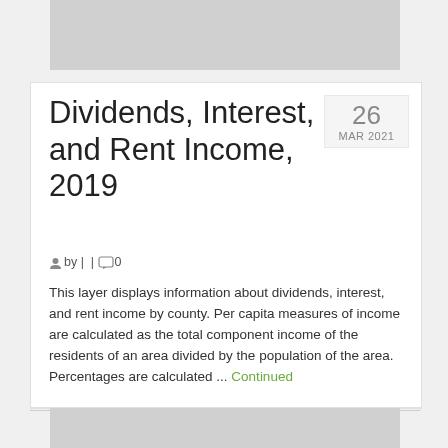[Figure (photo): Gray image placeholder strip at top of page]
Dividends, Interest, and Rent Income, 2019
26 MAR 2021
by |  | 0
This layer displays information about dividends, interest, and rent income by county. Per capita measures of income are calculated as the total component income of the residents of an area divided by the population of the area. Percentages are calculated ... Continued
[Figure (photo): Gray image placeholder strip at bottom of page]